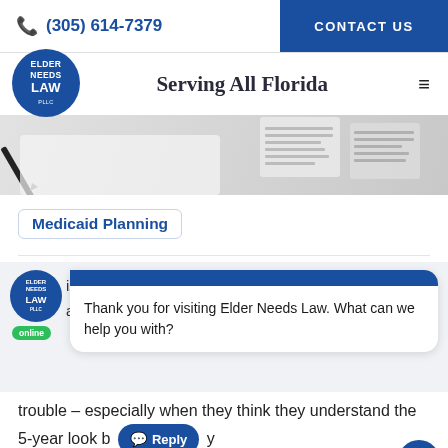(305) 614-7379 | CONTACT US
Serving All Florida
[Figure (photo): Hero banner with pen signing document and paper documents in background]
Medicaid Planning
[Figure (screenshot): Chat widget overlay with Elder Needs Law logo, online badge, and chat bubble saying: Thank you for visiting Elder Needs Law. What can we help you with?]
trouble – especially when they think they understand the 5-year look b[ack] y[et] amateur medicaid planner.